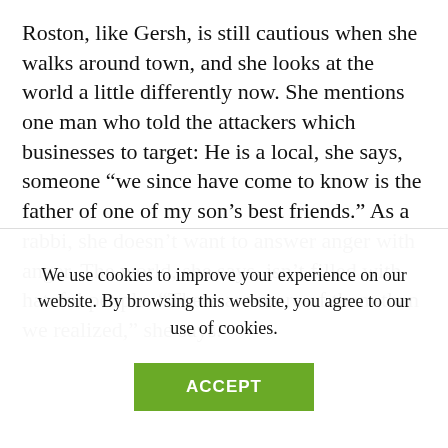Roston, like Gersh, is still cautious when she walks around town, and she looks at the world a little differently now. She mentions one man who told the attackers which businesses to target: He is a local, she says, someone “we since have come to know is the father of one of my son’s best friends.” As a rabbi, she doesn’t want to answer anger with anger. The world, she says, isn’t filled with hateful people. “There are more of them than we realized,” she says.
We use cookies to improve your experience on our website. By browsing this website, you agree to our use of cookies.
ACCEPT